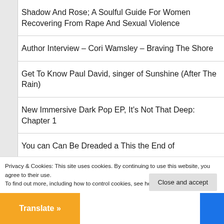Shadow And Rose; A Soulful Guide For Women Recovering From Rape And Sexual Violence
Author Interview – Cori Wamsley – Braving The Shore
Get To Know Paul David, singer of Sunshine (After The Rain)
New Immersive Dark Pop EP, It's Not That Deep: Chapter 1
You can Can Be Dreaded a This the End of…
Privacy & Cookies: This site uses cookies. By continuing to use this website, you agree to their use.
To find out more, including how to control cookies, see here: Cookie Policy
Close and accept
Translate »